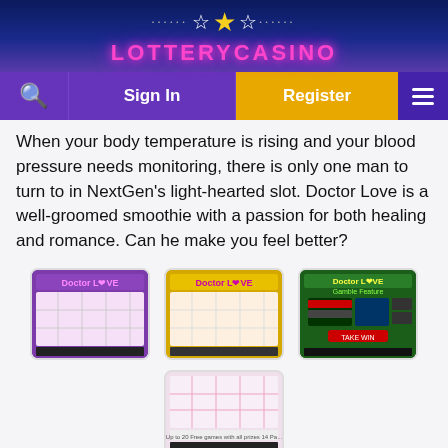LOTTERYCASINO
When your body temperature is rising and your blood pressure needs monitoring, there is only one man to turn to in NextGen's light-hearted slot. Doctor Love is a well-groomed smoothie with a passion for both healing and romance. Can he make you feel better?
[Figure (screenshot): Doctor Love slot game screenshot 1 - main game reels with purple header]
[Figure (screenshot): Doctor Love slot game screenshot 2 - main game reels with yellow header]
[Figure (screenshot): Doctor Love slot game screenshot 3 - Gamble Feature screen with green background]
[Figure (screenshot): Doctor Love slot game screenshot 4 - free games bonus screen]